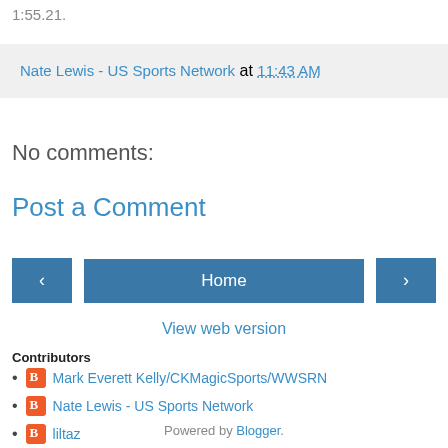1:55.21.
Nate Lewis - US Sports Network at 11:43 AM
No comments:
Post a Comment
Home
View web version
Contributors
Mark Everett Kelly/CKMagicSports/WWSRN
Nate Lewis - US Sports Network
liltaz
Powered by Blogger.